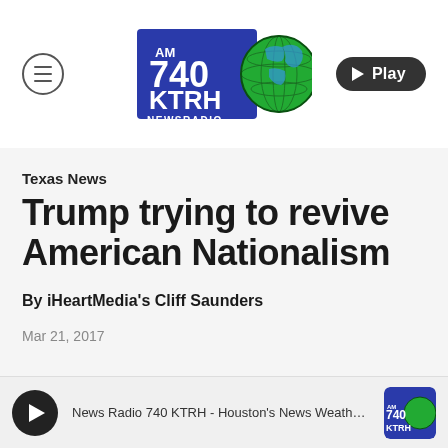[Figure (logo): AM 740 KTRH Newsradio logo with globe graphic]
Texas News
Trump trying to revive American Nationalism
By iHeartMedia's Cliff Saunders
Mar 21, 2017
News Radio 740 KTRH - Houston's News Weather & Tr...